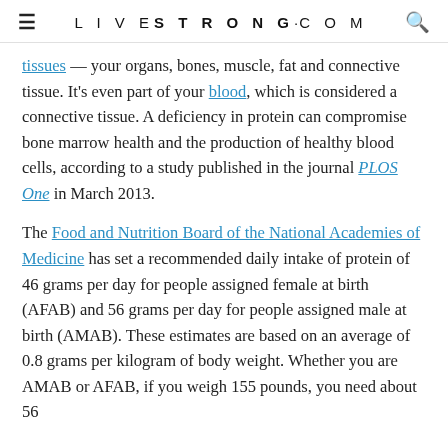LIVESTRONG.COM
tissues — your organs, bones, muscle, fat and connective tissue. It's even part of your blood, which is considered a connective tissue. A deficiency in protein can compromise bone marrow health and the production of healthy blood cells, according to a study published in the journal PLOS One in March 2013.
The Food and Nutrition Board of the National Academies of Medicine has set a recommended daily intake of protein of 46 grams per day for people assigned female at birth (AFAB) and 56 grams per day for people assigned male at birth (AMAB). These estimates are based on an average of 0.8 grams per kilogram of body weight. Whether you are AMAB or AFAB, if you weigh 155 pounds, you need about 56